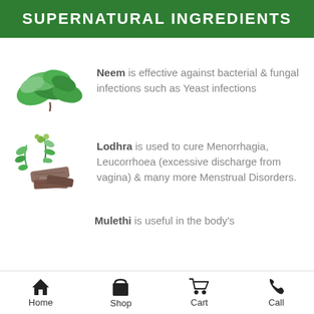SUPERNATURAL INGREDIENTS
[Figure (illustration): Green neem leaves cluster on white background]
Neem is effective against bacterial & fungal infections such as Yeast infections
[Figure (illustration): Lodhra herb with green sprigs and brown bark pieces on white background]
Lodhra is used to cure Menorrhagia, Leucorrhoea (excessive discharge from vagina) & many more Menstrual Disorders.
Mulethi is useful in the body's
Home  Shop  Cart  Call